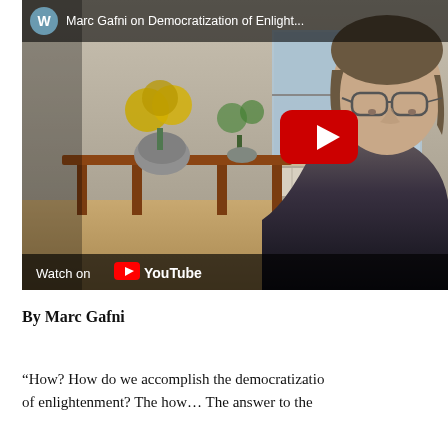[Figure (screenshot): YouTube video thumbnail showing a man with glasses and dark clothing sitting indoors, with a wooden table, potted plants, and window in the background. A red YouTube play button is visible in the center-right. The video title reads 'Marc Gafni on Democratization of Enlight...' A 'Watch on YouTube' bar appears at the bottom.]
By Marc Gafni
“How? How do we accomplish the democratization of enlightenment? The how... The answer to the